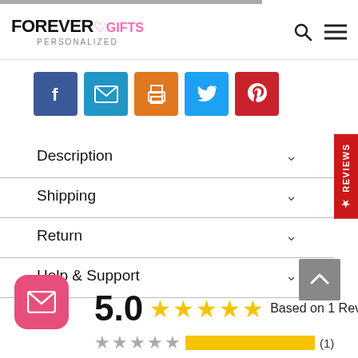FOREVER GIFTS PERSONALIZED
[Figure (other): Social share buttons: Facebook (blue), Email (light blue), Print (orange), Twitter (blue), Pinterest (red)]
Description
Shipping
Return
Help & Support
5.0  ★★★★★  Based on 1 Reviews
[Figure (other): Star rating bar row: 5 gray stars, yellow progress bar, (1) count]